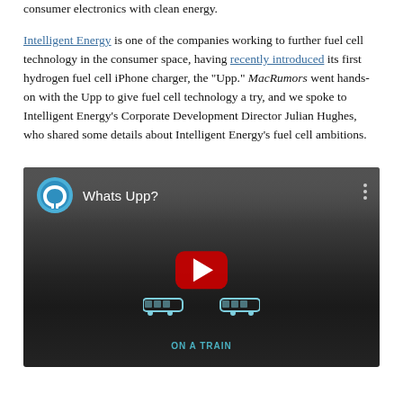consumer electronics with clean energy.

Intelligent Energy is one of the companies working to further fuel cell technology in the consumer space, having recently introduced its first hydrogen fuel cell iPhone charger, the "Upp." MacRumors went hands-on with the Upp to give fuel cell technology a try, and we spoke to Intelligent Energy's Corporate Development Director Julian Hughes, who shared some details about Intelligent Energy's fuel cell ambitions.
[Figure (screenshot): Embedded YouTube video player showing 'Whats Upp?' video with Intelligent Energy logo, three vertical dots menu, YouTube play button, train illustration, and 'ON A TRAIN' caption label]